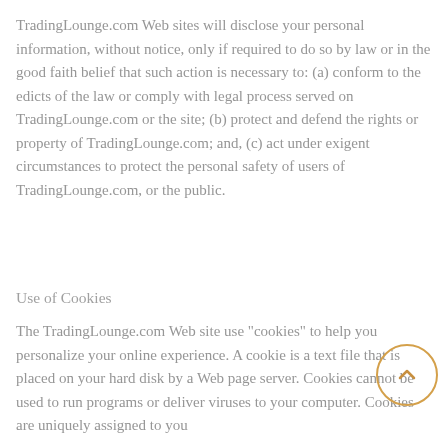TradingLounge.com Web sites will disclose your personal information, without notice, only if required to do so by law or in the good faith belief that such action is necessary to: (a) conform to the edicts of the law or comply with legal process served on TradingLounge.com or the site; (b) protect and defend the rights or property of TradingLounge.com; and, (c) act under exigent circumstances to protect the personal safety of users of TradingLounge.com, or the public.
Use of Cookies
The TradingLounge.com Web site use "cookies" to help you personalize your online experience. A cookie is a text file that is placed on your hard disk by a Web page server. Cookies cannot be used to run programs or deliver viruses to your computer. Cookies are uniquely assigned to you